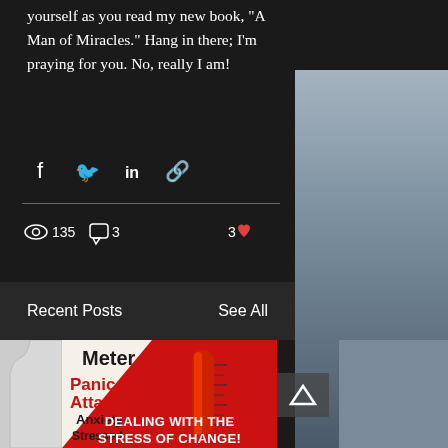yourself as you read my new book, "A Man of Miracles." Hang in there; I'm praying for you. No, really I am!
[Figure (screenshot): Social share icons: Facebook, Twitter, LinkedIn, Link]
135 views · 3 comments · 3 likes
Recent Posts
See All
[Figure (photo): Stress Meter image showing Panic Attack!, Anxiety, Stressed levels with red thermometer]
DEALING WITH THE STRESS OF CHANGE!